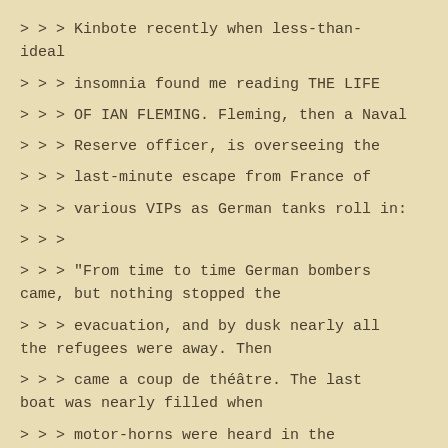> > > Kinbote recently when less-than-ideal
> > > insomnia found me reading THE LIFE
> > > OF IAN FLEMING. Fleming, then a Naval
> > > Reserve officer, is overseeing the
> > > last-minute escape from France of
> > > various VIPs as German tanks roll in:
> > >
> > > "From time to time German bombers came, but nothing stopped the
> > > evacuation, and by dusk nearly all the refugees were away. Then
> > > came a coup de théâtre. The last boat was nearly filled when
> > > motor-horns were heard in the